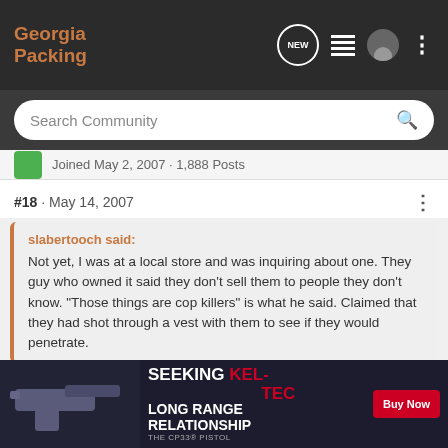Georgia Packing
Search Community
Joined May 2, 2007 · 1,888 Posts
#18 · May 14, 2007
slabertooch said: Not yet, I was at a local store and was inquiring about one. They guy who owned it said they don't sell them to people they don't know. "Those things are cop killers" is what he said. Claimed that they had shot through a vest with them to see if they would penetrate.
:bsflag: :^o ](*,) They have been listening to Shcumer and the Brady Bunch. They released some supposed video where a "LEO" did a test with "civilian" rounds and it supposedly penetrated a level 3 vest. I have not seen the video but it is rigged a
[Figure (advertisement): Kel-Tec CP33 pistol ad: SEEKING LONG RANGE RELATIONSHIP with Buy Now button]